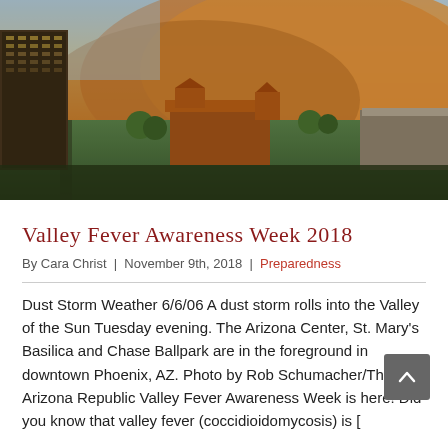[Figure (photo): Aerial photo of a massive dust storm (haboob) rolling into Phoenix, Arizona's Valley of the Sun on June 6, 2006. The Arizona Center, St. Mary's Basilica and Chase Ballpark are visible in the foreground in downtown Phoenix, AZ. Photo by Rob Schumacher/The Arizona Republic.]
Valley Fever Awareness Week 2018
By Cara Christ  |  November 9th, 2018  |  Preparedness
Dust Storm Weather 6/6/06 A dust storm rolls into the Valley of the Sun Tuesday evening. The Arizona Center, St. Mary's Basilica and Chase Ballpark are in the foreground in downtown Phoenix, AZ. Photo by Rob Schumacher/The Arizona Republic Valley Fever Awareness Week is here! Did you know that valley fever (coccidioidomycosis) is [...]